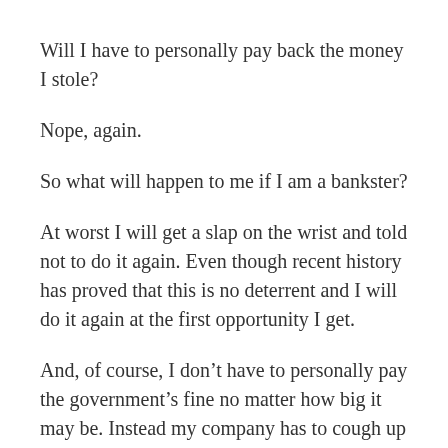Will I have to personally pay back the money I stole?
Nope, again.
So what will happen to me if I am a bankster?
At worst I will get a slap on the wrist and told not to do it again. Even though recent history has proved that this is no deterrent and I will do it again at the first opportunity I get.
And, of course, I don’t have to personally pay the government’s fine no matter how big it may be. Instead my company has to cough up on my behalf.